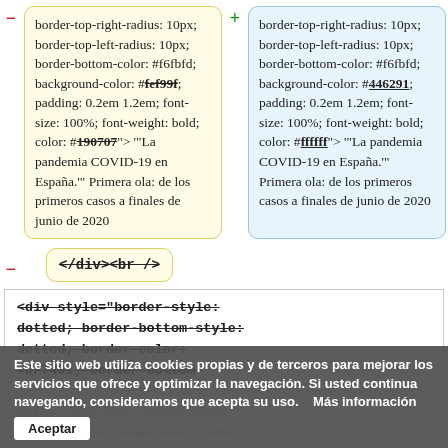Left box (removed): border-top-right-radius: 10px; border-top-left-radius: 10px; border-bottom-color: #f6fbfd; background-color: #fef99f; padding: 0.2em 1.2em; font-size: 100%; font-weight: bold; color: #190707"> '"La pandemia COVID-19 en España.'" Primera ola: de los primeros casos a finales de junio de 2020
Right box (added): border-top-right-radius: 10px; border-top-left-radius: 10px; border-bottom-color: #f6fbfd; background-color: #446291; padding: 0.2em 1.2em; font-size: 100%; font-weight: bold; color: #ffffff"> '"La pandemia COVID-19 en España.'" Primera ola: de los primeros casos a finales de junio de 2020
Removed line: </div><br />
<div style="border-style: dotted; border-bottom-style: dotted; border-color: #DF7401; border-bottom-color: #DF7401; background-
Cookie bar: Este sitio web utiliza cookies propias y de terceros para mejorar los servicios que ofrece y optimizar la navegación. Si usted continua navegando, consideramos que acepta su uso.    Más información  Aceptar